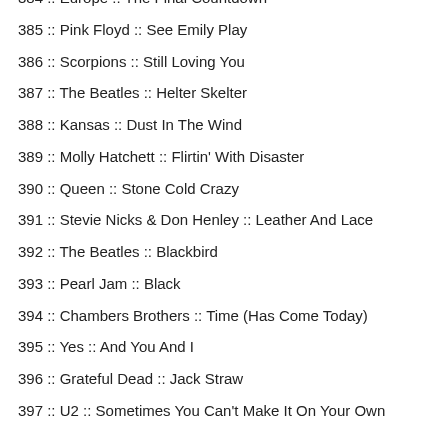384 :: Europe :: The Final Countdown
385 :: Pink Floyd :: See Emily Play
386 :: Scorpions :: Still Loving You
387 :: The Beatles :: Helter Skelter
388 :: Kansas :: Dust In The Wind
389 :: Molly Hatchett :: Flirtin' With Disaster
390 :: Queen :: Stone Cold Crazy
391 :: Stevie Nicks & Don Henley :: Leather And Lace
392 :: The Beatles :: Blackbird
393 :: Pearl Jam :: Black
394 :: Chambers Brothers :: Time (Has Come Today)
395 :: Yes :: And You And I
396 :: Grateful Dead :: Jack Straw
397 :: U2 :: Sometimes You Can't Make It On Your Own